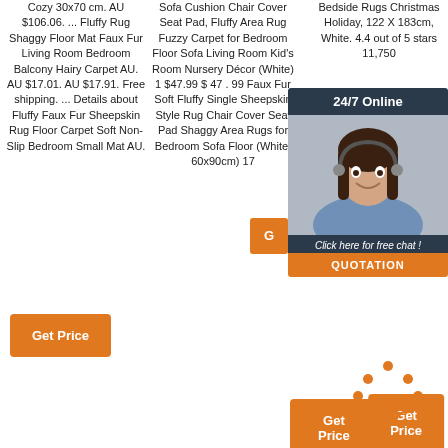Cozy 30x70 cm. AU $106.06. ... Fluffy Rug Shaggy Floor Mat Faux Fur Living Room Bedroom Balcony Hairy Carpet AU. AU $17.01. AU $17.91. Free shipping. ... Details about Fluffy Faux Fur Sheepskin Rug Floor Carpet Soft Non-Slip Bedroom Small Mat AU.
[Figure (other): Orange 'Get Price' button]
Sofa Cushion Chair Cover Seat Pad, Fluffy Area Rug Fuzzy Carpet for Bedroom Floor Sofa Living Room Kid's Room Nursery Décor (White) 1 $47.99 $ 47 . 99 Faux Fur Soft Fluffy Single Sheepskin Style Rug Chair Cover Seat Pad Shaggy Area Rugs for Bedroom Sofa Floor (White, 60x90cm) 17
[Figure (other): Orange 'Get Price' button]
Bedside Rugs Christmas Holiday, 122 X 183cm, White. 4.4 out of 5 stars 11,750
[Figure (screenshot): 24/7 Online chat widget with headset woman photo, 'Click here for free chat!' text and orange QUOTATION button]
[Figure (other): TOP arrow button in orange dots with text 'TOP']